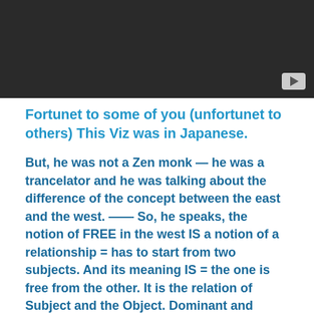[Figure (screenshot): Dark video player thumbnail with a play button in the bottom right corner]
Fortunet to some of you (unfortunet to others) This Viz was in Japanese.
But, he was not a Zen monk — he was a trancelator and he was talking about the difference of the concept between the east and the west. —— So, he speaks, the notion of FREE in the west IS a notion of a relationship = has to start from two subjects. And its meaning IS = the one is free from the other. It is the relation of Subject and the Object. Dominant and Subjected. Such as the God and I. = So, the fundamental ethos / idea of the west starts from here, therefore the social structure too.